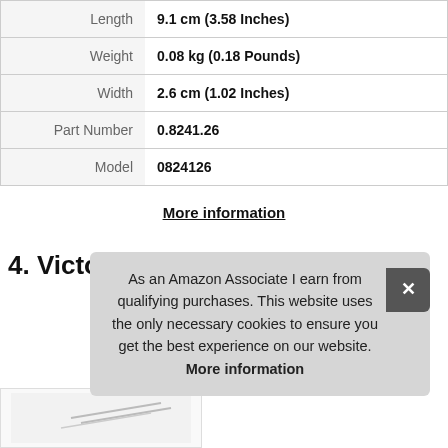| Attribute | Value |
| --- | --- |
| Length | 9.1 cm (3.58 Inches) |
| Weight | 0.08 kg (0.18 Pounds) |
| Width | 2.6 cm (1.02 Inches) |
| Part Number | 0.8241.26 |
| Model | 0824126 |
More information
4. Victorinox
As an Amazon Associate I earn from qualifying purchases. This website uses the only necessary cookies to ensure you get the best experience on our website. More information